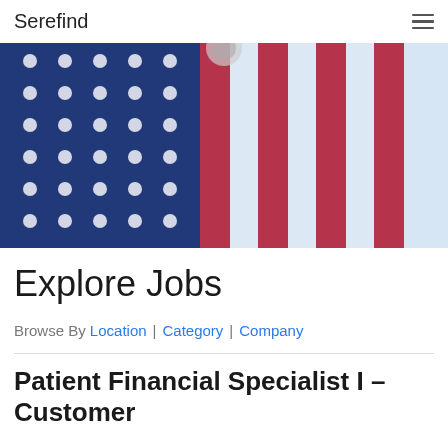Serefind
[Figure (photo): Blurred close-up photo of an American flag with red, white, and blue colors against a bright blue sky background]
Explore Jobs
Browse By Location | Category | Company
Patient Financial Specialist I – Customer